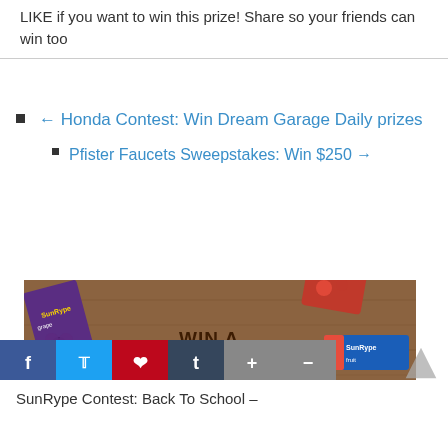LIKE if you want to win this prize! Share so your friends can win too
← Honda Contest: Win Dream Garage Daily prizes
Pfister Faucets Sweepstakes: Win $250 →
[Figure (photo): SunRype prize pack promotional image showing various SunRype juice and snack products on a wooden table with text WIN A SUNRYPE PRIZE PACK and watermark See at ContestScoop.com]
SunRype Contest: Back To School –